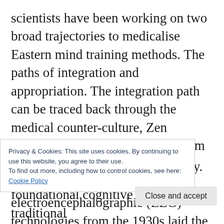scientists have been working on two broad trajectories to medicalise Eastern mind training methods. The paths of integration and appropriation. The integration path can be traced back through the medical counter-culture, Zen psychotherapy and Buddhist reform movements of the late 19th century. Experimental work with electroencephalographic (EEG) technologies from the 1930s laid the foundations of the path of appropriation. The rise of scientist
Privacy & Cookies: This site uses cookies. By continuing to use this website, you agree to their use.
To find out more, including how to control cookies, see here:
Cookie Policy
foundational cognitive elements of traditional